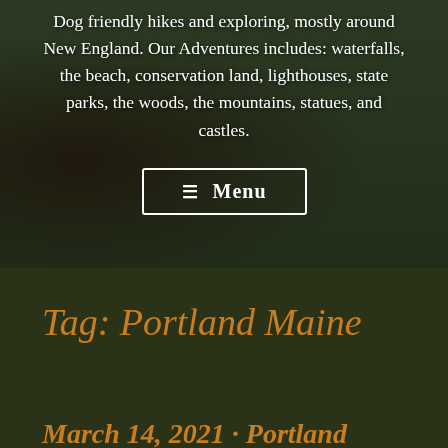[Figure (photo): Background photo of a dog (dark/brindle colored) from behind, standing on grass, with overlaid white text and a menu button. The scene is outdoors with green grass.]
Dog friendly hikes and exploring, mostly around New England. Our Adventures includes: waterfalls, the beach, conservation land, lighthouses, state parks, the woods, the mountains, statues, and castles.
☰ Menu
Tag: Portland Maine
March 14, 2021 · Portland Co...